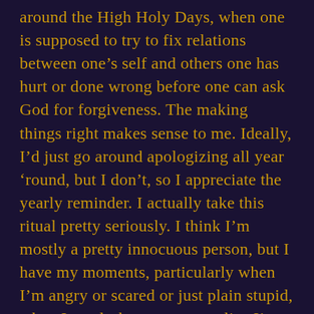around the High Holy Days, when one is supposed to try to fix relations between one's self and others one has hurt or done wrong before one can ask God for forgiveness. The making things right makes sense to me. Ideally, I'd just go around apologizing all year 'round, but I don't, so I appreciate the yearly reminder. I actually take this ritual pretty seriously. I think I'm mostly a pretty innocuous person, but I have my moments, particularly when I'm angry or scared or just plain stupid, when I can lash out or not realize I'm saying the most keenly hurtful thing possible — either way, it's important to me to make amends.